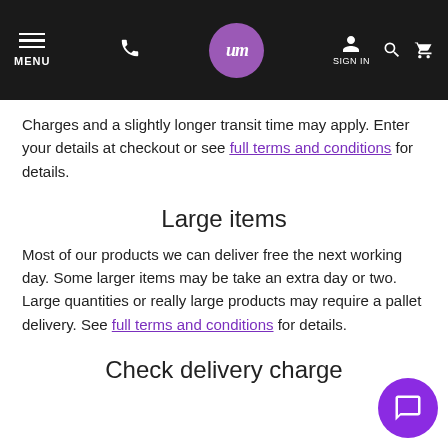MENU | phone | um logo | SIGN IN | search | cart
Charges and a slightly longer transit time may apply. Enter your details at checkout or see full terms and conditions for details.
Large items
Most of our products we can deliver free the next working day. Some larger items may be take an extra day or two. Large quantities or really large products may require a pallet delivery. See full terms and conditions for details.
Check delivery charge